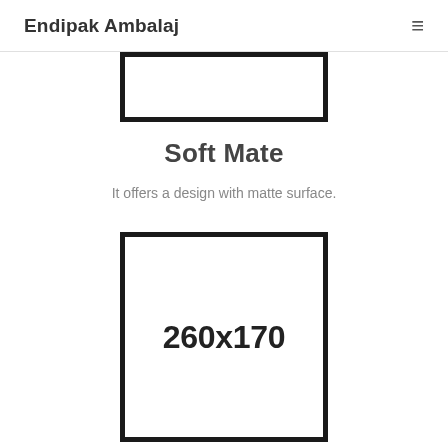Endipak Ambalaj
[Figure (illustration): Partially visible rectangular box outline at the top of the page, representing a product packaging silhouette cropped at top.]
Soft Mate
It offers a design with matte surface.
[Figure (illustration): Rectangular box outline showing product dimensions label '260x170' centered inside.]